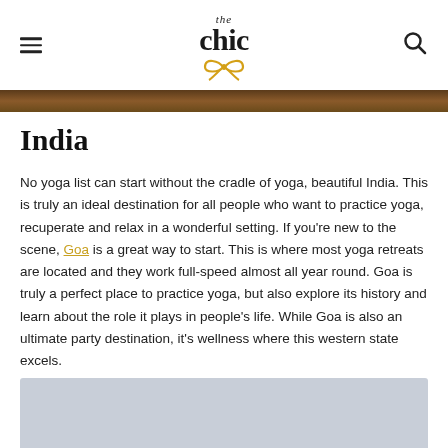the chic (logo with bow)
[Figure (photo): Partial banner image strip at top of page, dark warm tones]
India
No yoga list can start without the cradle of yoga, beautiful India. This is truly an ideal destination for all people who want to practice yoga, recuperate and relax in a wonderful setting. If you're new to the scene, Goa is a great way to start. This is where most yoga retreats are located and they work full-speed almost all year round. Goa is truly a perfect place to practice yoga, but also explore its history and learn about the role it plays in people's life. While Goa is also an ultimate party destination, it's wellness where this western state excels.
[Figure (photo): Partial image visible at bottom of page, light gray-blue tones]